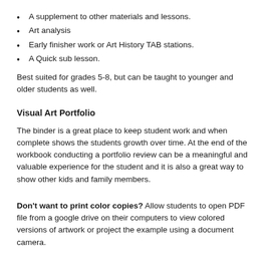A supplement to other materials and lessons.
Art analysis
Early finisher work or Art History TAB stations.
A Quick sub lesson.
Best suited for grades 5-8, but can be taught to younger and older students as well.
Visual Art Portfolio
The binder is a great place to keep student work and when complete shows the students growth over time. At the end of the workbook conducting a portfolio review can be a meaningful and valuable experience for the student and it is also a great way to show other kids and family members.
Don't want to print color copies? Allow students to open PDF file from a google drive on their computers to view colored versions of artwork or project the example using a document camera.